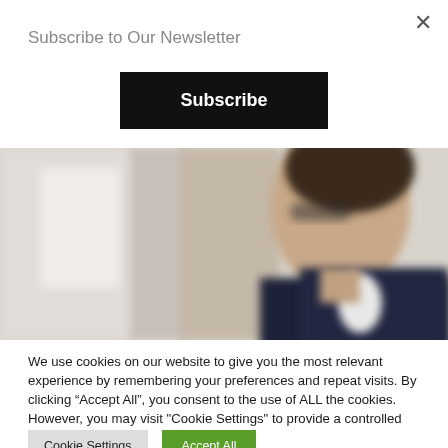Subscribe to Our Newsletter
[Figure (other): Black subscribe button with white bold text reading 'Subscribe']
[Figure (photo): Blurred photo of a business person in a dark suit and glasses, viewed from the side, in an office setting]
We use cookies on our website to give you the most relevant experience by remembering your preferences and repeat visits. By clicking "Accept All", you consent to the use of ALL the cookies. However, you may visit "Cookie Settings" to provide a controlled consent.
Cookie Settings
Accept All